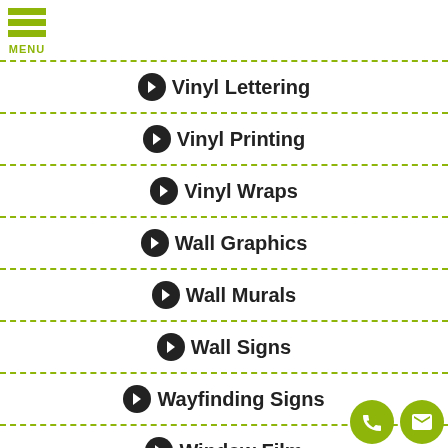MENU
Vinyl Lettering
Vinyl Printing
Vinyl Wraps
Wall Graphics
Wall Murals
Wall Signs
Wayfinding Signs
Window Film